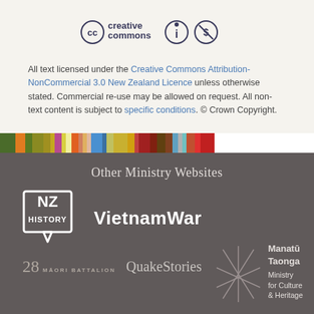[Figure (logo): Creative Commons CC logo with attribution and non-commercial icons]
All text licensed under the Creative Commons Attribution-NonCommercial 3.0 New Zealand Licence unless otherwise stated. Commercial re-use may be allowed on request. All non-text content is subject to specific conditions. © Crown Copyright.
[Figure (infographic): Colorful horizontal bar of many different color stripes]
Other Ministry Websites
[Figure (logo): NZ History logo — square with NZ HISTORY text inside and speech bubble pointer]
[Figure (logo): VietnamWar website logo in bold white text]
[Figure (logo): 28 Maori Battalion logo text]
[Figure (logo): QuakeStories logo in serif font]
[Figure (logo): Manatu Taonga Ministry for Culture and Heritage logo with asterisk/star graphic]
newzealand.govt.nz